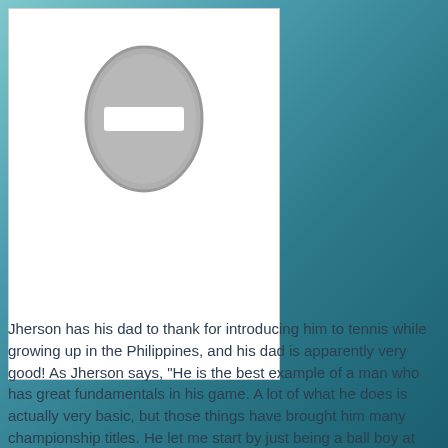[Figure (illustration): Placeholder image with a grey oval containing a white rectangle, on a white background]
Jherson has his dad to thank for introducing him to tennis while growing up in the Philippines, and his dad is apparently very good! As Jherson says, “He is the best example of a man who has great fundamentals in his game. A lot of what he does is actually very basic, but those things have brought him many championship titles. He let me start by just being a ball boy at first, and then he started training me when I was seven years old. Unfortunately though, I had to stop at age nine due to some financial problems in our family.”